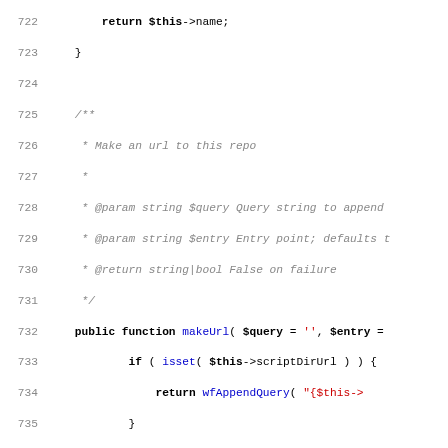[Figure (screenshot): Source code listing in PHP showing lines 722-754. Displays methods makeUrl() and getDescriptionUrl() with line numbers, code comments, and syntax highlighting (keywords bold, function names in blue, strings in red, comments in gray italic).]